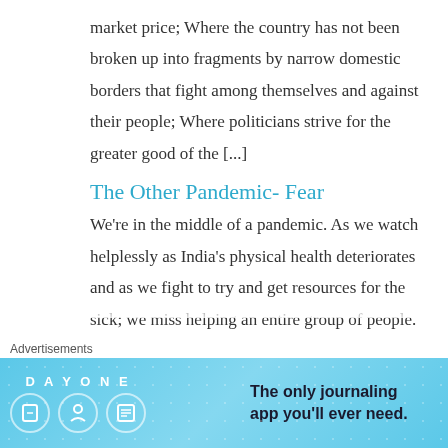market price; Where the country has not been broken up into fragments by narrow domestic borders that fight among themselves and against their people; Where politicians strive for the greater good of the [...]
The Other Pandemic- Fear
We're in the middle of a pandemic. As we watch helplessly as India's physical health deteriorates and as we fight to try and get resources for the sick; we miss helping an entire group of people. They do not look unhealthy. They may not suffer outwardly. But they are declining rapidly, some even more...
Advertisements
[Figure (other): Day One journaling app advertisement banner with blue gradient background, DAY ONE text logo, three circular icons, and tagline 'The only journaling app you'll ever need.']